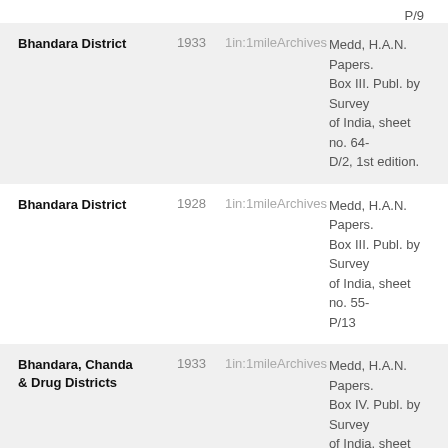P/9
| Name | Year | Scale | Location | Description |
| --- | --- | --- | --- | --- |
| Bhandara District | 1933 | 1in:1mile | Archives | Medd, H.A.N. Papers. Box III. Publ. by Survey of India, sheet no. 64-D/2, 1st edition. |
| Bhandara District | 1928 | 1in:1mile | Archives | Medd, H.A.N. Papers. Box III. Publ. by Survey of India, sheet no. 55-P/13 |
| Bhandara, Chanda & Drug Districts | 1933 | 1in:1mile | Archives | Medd, H.A.N. Papers. Box IV. Publ. by Survey of India, sheet no. 64-D/6, 1st edition. |
| Bhandara, Chanda | 1928 | 1in:1mile | Archives | Medd, H.A.N. Papers. |